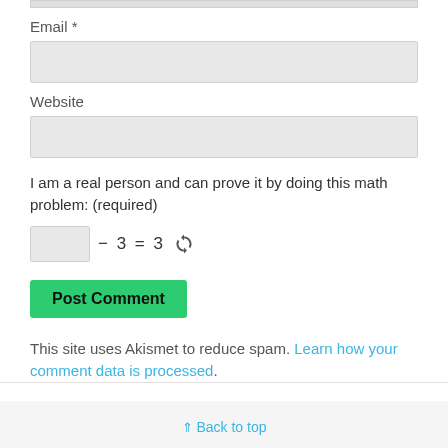Email *
Website
I am a real person and can prove it by doing this math problem: (required)
− 3 = 3
Post Comment
This site uses Akismet to reduce spam. Learn how your comment data is processed.
⇑ Back to top